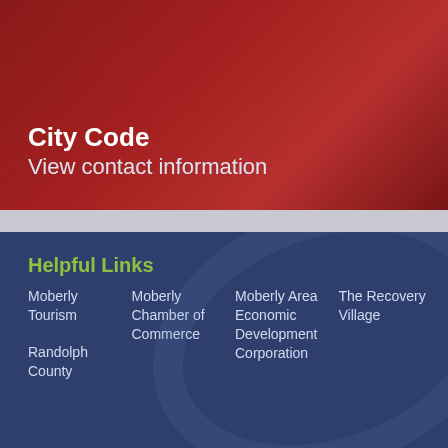City Code
View contact information
Helpful Links
Moberly Tourism
Randolph County
Moberly Chamber of Commerce
Moberly Area Economic Development Corporation
The Recovery Village